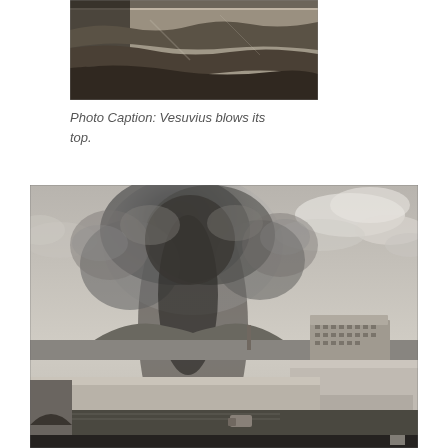[Figure (photo): Black and white photograph of Vesuvius erupting, showing layers of rock and vegetation, close-up view of the mountainside with smoke.]
Photo Caption: Vesuvius blows its top.
[Figure (photo): Wide black and white photograph showing Vesuvius erupting with a massive plume of ash and smoke rising into a cloudy sky, with a city and long colonnaded building complex in the foreground.]